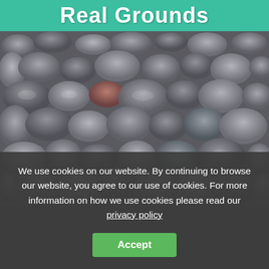Real Grounds
[Figure (photo): Close-up photograph of grey and brown smooth river pebbles/gravel stones covering the ground]
We use cookies on our website. By continuing to browse our website, you agree to our use of cookies. For more information on how we use cookies please read our privacy policy
Accept